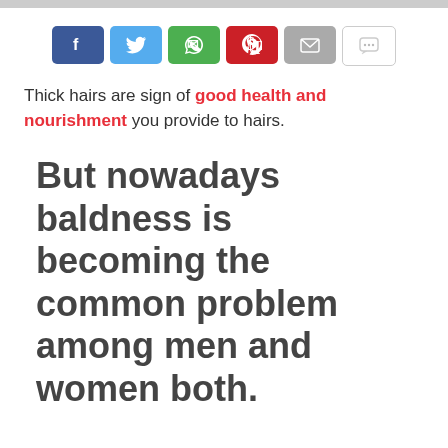[Figure (other): Row of social media share buttons: Facebook (blue), Twitter (light blue), WhatsApp (green), Pinterest (red), Email (gray), Comment (white/outlined)]
Thick hairs are sign of good health and nourishment you provide to hairs.
But nowadays baldness is becoming the common problem among men and women both.